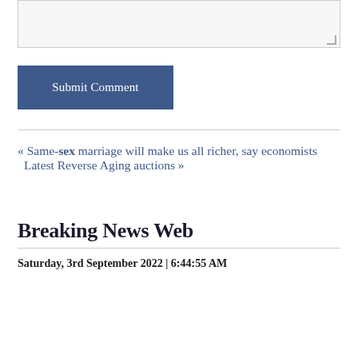[Figure (screenshot): Textarea input box with resize handle in the bottom-right corner]
Submit Comment
« Same-sex marriage will make us all richer, say economists   Latest Reverse Aging auctions »
Breaking News Web
Saturday, 3rd September 2022 | 6:44:55 AM
...